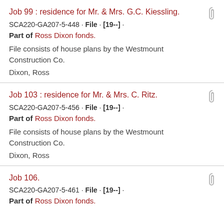Job 99 : residence for Mr. & Mrs. G.C. Kiessling.
SCA220-GA207-5-448 · File · [19--] ·
Part of Ross Dixon fonds.
File consists of house plans by the Westmount Construction Co.
Dixon, Ross
Job 103 : residence for Mr. & Mrs. C. Ritz.
SCA220-GA207-5-456 · File · [19--] ·
Part of Ross Dixon fonds.
File consists of house plans by the Westmount Construction Co.
Dixon, Ross
Job 106.
SCA220-GA207-5-461 · File · [19--] ·
Part of Ross Dixon fonds.